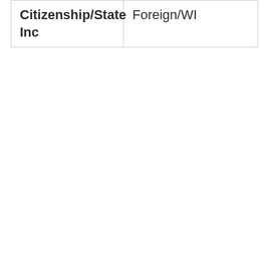| Citizenship/State Inc | Foreign/WI |